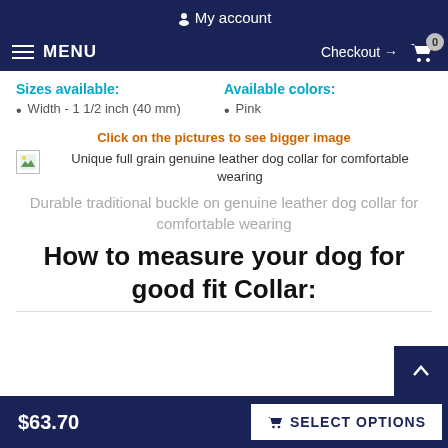My account
MENU  Checkout → 0
Sizes available:
Available colors:
Width - 1 1/2 inch (40 mm)
Pink
Click on the pictures to see bigger image
[Figure (photo): Broken image placeholder with alt text: Unique full grain genuine leather dog collar for comfortable wearing]
Unique full grain genuine leather dog collar for comfortable wearing
Durable traditional buckle on genuine leather dog collar for comfortable wearing
How to measure your dog for good fit Collar:
$63.70  SELECT OPTIONS